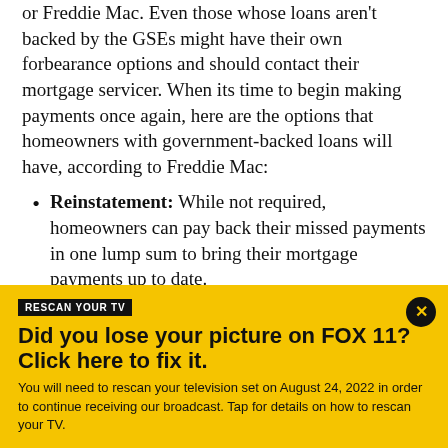or Freddie Mac. Even those whose loans aren't backed by the GSEs might have their own forbearance options and should contact their mortgage servicer. When its time to begin making payments once again, here are the options that homeowners with government-backed loans will have, according to Freddie Mac:
Reinstatement: While not required, homeowners can pay back their missed payments in one lump sum to bring their mortgage payments up to date.
RESCAN YOUR TV
Did you lose your picture on FOX 11? Click here to fix it.
You will need to rescan your television set on August 24, 2022 in order to continue receiving our broadcast. Tap for details on how to rescan your TV.